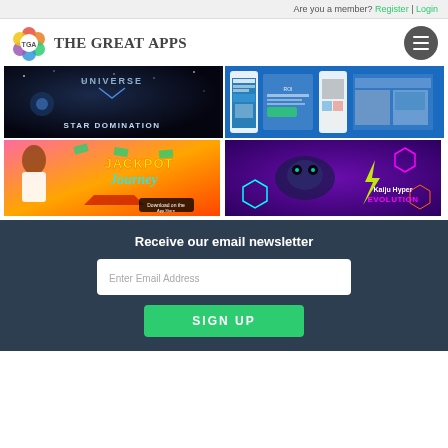Are you a member? Register | Login
[Figure (logo): The Great Apps logo with TGA colorful flower icon and site name]
[Figure (screenshot): Grid of 4 app promotional banners: Star Domination (universe/space game), a blue app UI screenshot, Jackpot Journey casino game, and Kaiju Hyper Evolution game]
Receive our email newsletter
Enter Email Address
SIGN UP